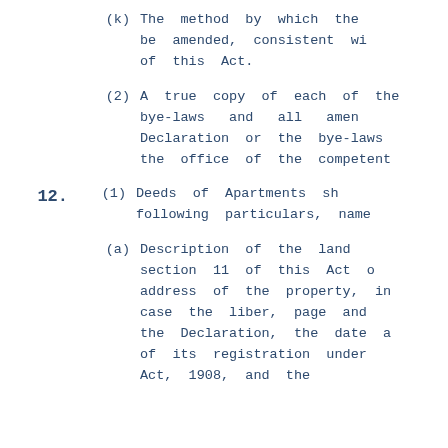(k) The method by which the bye-laws may be amended, consistent with the provisions of this Act.
(2) A true copy of each of the bye-laws and all amendments to the Declaration or the bye-laws shall be filed in the office of the competent authority.
12. (1) Deeds of Apartments shall contain the following particulars, namely:—
(a) Description of the land as in section 11 of this Act or the postal address of the property, in the latter case the liber, page and date of registration the Declaration, the date and number of its registration under the Registration Act, 1908, and the